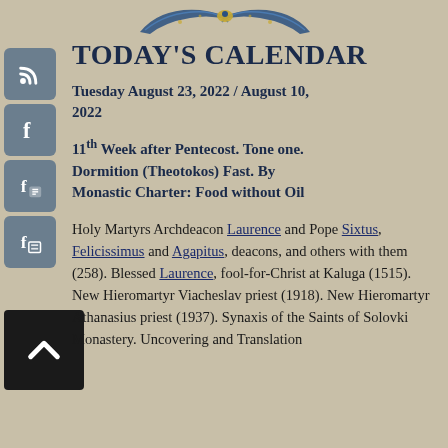[Figure (illustration): Decorative ornamental header with blue and gold bird/wing motifs on tan background]
TODAY'S CALENDAR
Tuesday August 23, 2022 / August 10, 2022
11th Week after Pentecost. Tone one. Dormition (Theotokos) Fast. By Monastic Charter: Food without Oil
Holy Martyrs Archdeacon Laurence and Pope Sixtus, Felicissimus and Agapitus, deacons, and others with them (258). Blessed Laurence, fool-for-Christ at Kaluga (1515). New Hieromartyr Viacheslav priest (1918). New Hieromartyr Athanasius priest (1937). Synaxis of the Saints of Solovki Monastery. Uncovering and Translation of the relics of...